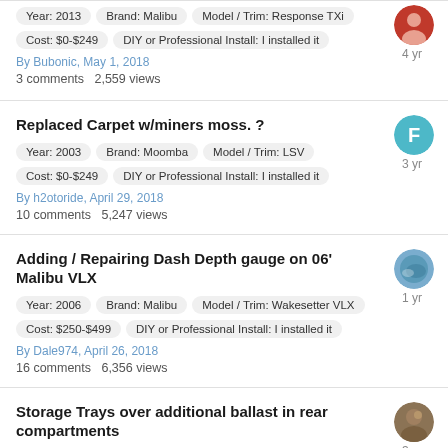Year: 2013 | Brand: Malibu | Model / Trim: Response TXi | Cost: $0-$249 | DIY or Professional Install: I installed it | By Bubonic, May 1, 2018 | 3 comments 2,559 views | 4 yr
Replaced Carpet w/miners moss. ? | Year: 2003 | Brand: Moomba | Model / Trim: LSV | Cost: $0-$249 | DIY or Professional Install: I installed it | By h2otoride, April 29, 2018 | 10 comments 5,247 views | 3 yr
Adding / Repairing Dash Depth gauge on 06' Malibu VLX | Year: 2006 | Brand: Malibu | Model / Trim: Wakesetter VLX | Cost: $250-$499 | DIY or Professional Install: I installed it | By Dale974, April 26, 2018 | 16 comments 6,356 views | 1 yr
Storage Trays over additional ballast in rear compartments | Year: 2006 | Brand: Malibu | Model / Trim: Wakesetter VLX | Cost: $0-$249 | DIY or Professional Install: I installed it | 3 yr